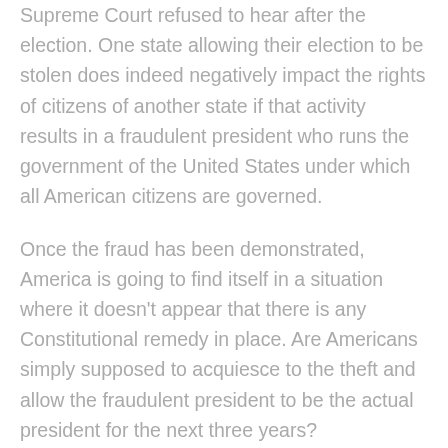Supreme Court refused to hear after the election. One state allowing their election to be stolen does indeed negatively impact the rights of citizens of another state if that activity results in a fraudulent president who runs the government of the United States under which all American citizens are governed.
Once the fraud has been demonstrated, America is going to find itself in a situation where it doesn't appear that there is any Constitutional remedy in place. Are Americans simply supposed to acquiesce to the theft and allow the fraudulent president to be the actual president for the next three years?